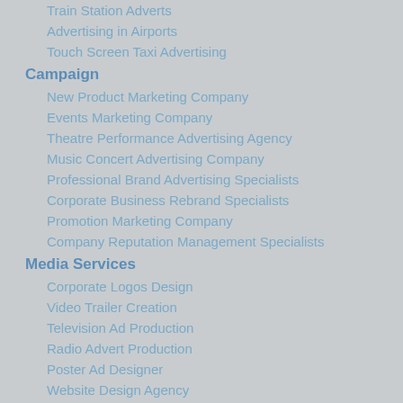Train Station Adverts
Advertising in Airports
Touch Screen Taxi Advertising
Campaign
New Product Marketing Company
Events Marketing Company
Theatre Performance Advertising Agency
Music Concert Advertising Company
Professional Brand Advertising Specialists
Corporate Business Rebrand Specialists
Promotion Marketing Company
Company Reputation Management Specialists
Media Services
Corporate Logos Design
Video Trailer Creation
Television Ad Production
Radio Advert Production
Poster Ad Designer
Website Design Agency
Content Writing Services
Billboard Advertising Design
Facebook Advert Company
Instagram Advertising Company